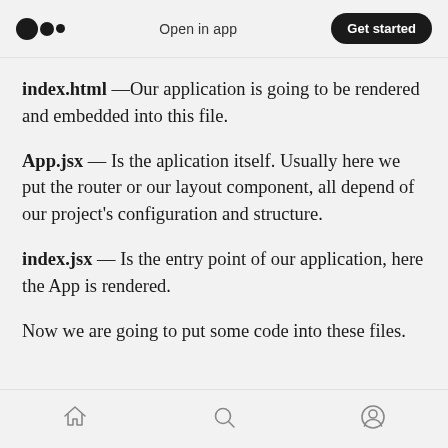Open in app | Get started
index.html—Our application is going to be rendered and embedded into this file.
App.jsx — Is the aplication itself. Usually here we put the router or our layout component, all depend of our project's configuration and structure.
index.jsx — Is the entry point of our application, here the App is rendered.
Now we are going to put some code into these files.
Home | Search | Profile